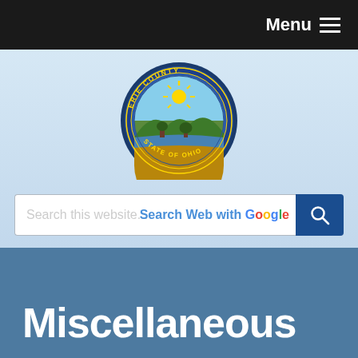Menu
[Figure (logo): Erie County State of Ohio official seal — circular blue-bordered seal with landscape scene, sun rays, trees, and text 'ERIE COUNTY STATE OF OHIO']
Search this website... Search Web with Google
Miscellaneous